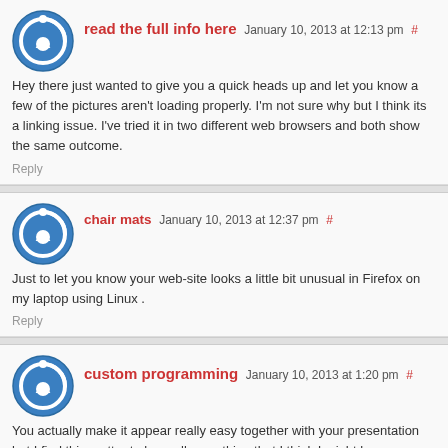read the full info here January 10, 2013 at 12:13 pm #
Hey there just wanted to give you a quick heads up and let you know a few of the pictures aren't loading properly. I'm not sure why but I think its a linking issue. I've tried it in two different web browsers and both show the same outcome.
Reply
chair mats January 10, 2013 at 12:37 pm #
Just to let you know your web-site looks a little bit unusual in Firefox on my laptop using Linux .
Reply
custom programming January 10, 2013 at 1:20 pm #
You actually make it appear really easy together with your presentation but I find this matter to be really one thing that I think I might by no means understand. It seems too complex and very broad for me. I'm taking a